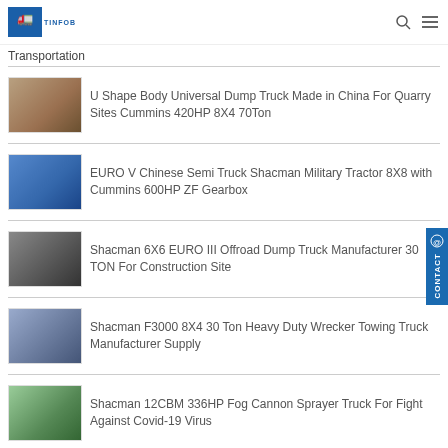TINFOB [logo] — navigation header with search and menu icons
Transportation
U Shape Body Universal Dump Truck Made in China For Quarry Sites Cummins 420HP 8X4 70Ton
EURO V Chinese Semi Truck Shacman Military Tractor 8X8 with Cummins 600HP ZF Gearbox
Shacman 6X6 EURO III Offroad Dump Truck Manufacturer 30 TON For Construction Site
Shacman F3000 8X4 30 Ton Heavy Duty Wrecker Towing Truck Manufacturer Supply
Shacman 12CBM 336HP Fog Cannon Sprayer Truck For Fight Against Covid-19 Virus